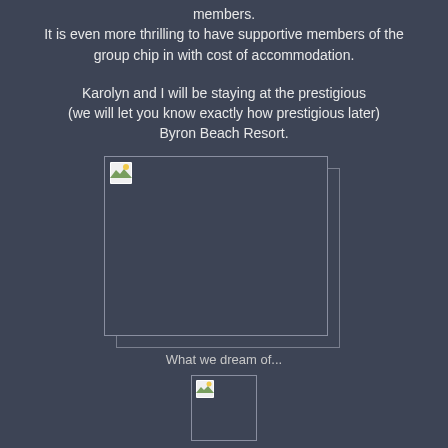members.
It is even more thrilling to have supportive members of the group chip in with cost of accommodation.
Karolyn and I will be staying at the prestigious (we will let you know exactly how prestigious later) Byron Beach Resort.
[Figure (photo): Broken/missing image placeholder - large rectangle representing a dream resort photo]
What we dream of...
[Figure (photo): Broken/missing image placeholder - small square representing actual accommodation photo]
Where we will be staying...